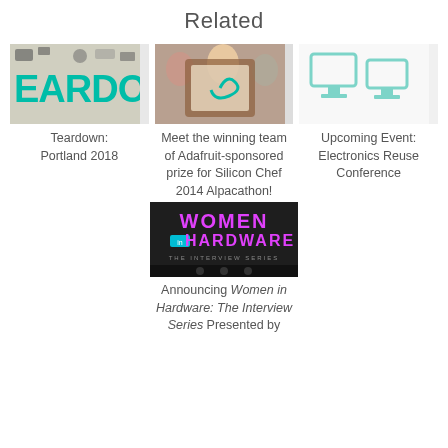Related
[Figure (photo): Teardown electronics components spread on a table with teal TEARDOWN text]
Teardown:
Portland 2018
[Figure (photo): People holding a framed artwork with a swirl design at Adafruit Silicon Chef Alpacathon]
Meet the winning team of Adafruit-sponsored prize for Silicon Chef 2014 Alpacathon!
[Figure (illustration): Teal computer monitor icons on light background for Electronics Reuse Conference]
Upcoming Event: Electronics Reuse Conference
[Figure (photo): Women in Hardware: The Interview Series banner with magenta text on dark background]
Announcing Women in Hardware: The Interview Series Presented by